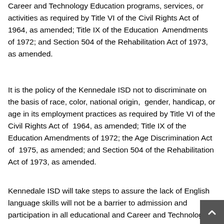Career and Technology Education programs, services, or activities as required by Title VI of the Civil Rights Act of 1964, as amended; Title IX of the Education Amendments of 1972; and Section 504 of the Rehabilitation Act of 1973, as amended.
It is the policy of the Kennedale ISD not to discriminate on the basis of race, color, national origin, gender, handicap, or age in its employment practices as required by Title VI of the Civil Rights Act of 1964, as amended; Title IX of the Education Amendments of 1972; the Age Discrimination Act of 1975, as amended; and Section 504 of the Rehabilitation Act of 1973, as amended.
Kennedale ISD will take steps to assure the lack of English language skills will not be a barrier to admission and participation in all educational and Career and Technology Education programs. For information about your rights or